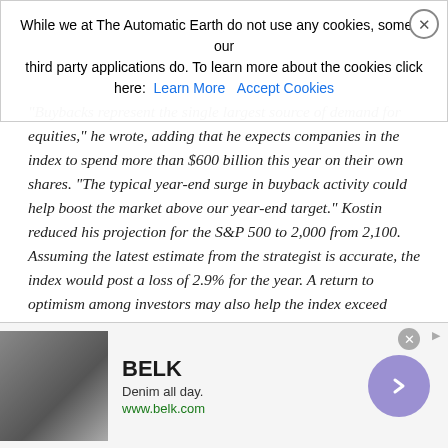While we at The Automatic Earth do not use any cookies, some of our third party applications do. To learn more about the cookies click here: Learn More  Accept Cookies
"Buybacks represent the single largest source of demand for equities," he wrote, adding that he expects companies in the index to spend more than $600 billion this year on their own shares. "The typical year-end surge in buyback activity could help boost the market above our year-end target." Kostin reduced his projection for the S&P 500 to 2,000 from 2,100. Assuming the latest estimate from the strategist is accurate, the index would post a loss of 2.9% for the year. A return to optimism among investors may also help the index exceed 2,000, according to Kostin. He cited a Goldman sentiment indicator, based on S&P 500 futures trading, that has been at the lowest possible reading for seven of the past eight weeks. That's the longest stretch in the gauge's eight-year history, the report said.
Read more …
[Figure (other): Advertisement banner for BELK featuring denim clothing. Shows 'BELK', 'Denim all day.', 'www.belk.com', with an image of women in denim and a purple arrow button.]